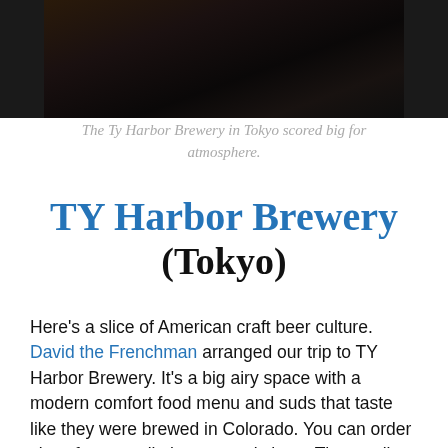[Figure (photo): Dark atmospheric photo of the interior of Ty Harbor Brewery in Tokyo, showing dim lighting and bar/restaurant ambiance.]
The Ty Harbor Brewery in Tokyo scored big for atmosphere.
TY Harbor Brewery (Tokyo)
Here's a slice of American craft beer culture. David the Frenchman arranged our trip to TY Harbor Brewery. It's a big airy space with a modern comfort food menu and suds that taste like they were brewed in Colorado. You can order sizes from small glasses to pitchers. The small glasses are great for trying the different flavors without feeling too full. I favor the imperial stout, but the IPA is also great. I'd like to see a bit more adventure rather than lagers and lighter ales — and with New Zealand on the right